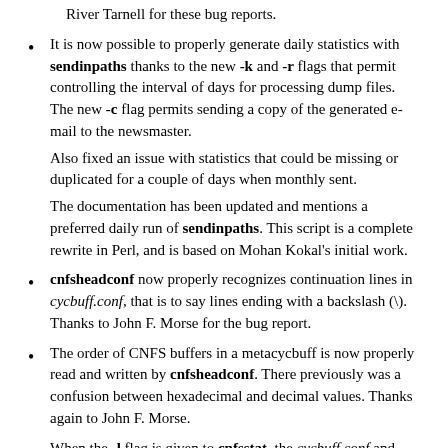River Tarnell for these bug reports.
It is now possible to properly generate daily statistics with sendinpaths thanks to the new -k and -r flags that permit controlling the interval of days for processing dump files. The new -c flag permits sending a copy of the generated e-mail to the newsmaster.

Also fixed an issue with statistics that could be missing or duplicated for a couple of days when monthly sent.

The documentation has been updated and mentions a preferred daily run of sendinpaths. This script is a complete rewrite in Perl, and is based on Mohan Kokal's initial work.
cnfsheadconf now properly recognizes continuation lines in cycbuff.conf, that is to say lines ending with a backslash (\). Thanks to John F. Morse for the bug report.
The order of CNFS buffers in a metacycbuff is now properly read and written by cnfsheadconf. There previously was a confusion between hexadecimal and decimal values. Thanks again to John F. Morse.
When the -l flag is given to cnfsstat, the cycbuff.conf and storage.conf files are re-read if they have changed.